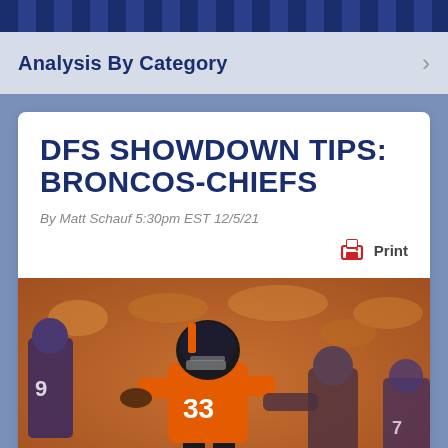Analysis By Category
DFS SHOWDOWN TIPS: BRONCOS-CHIEFS
By Matt Schauf 5:30pm EST 12/5/21
Print
[Figure (photo): Denver Broncos running back #33 in orange jersey carrying football, in action during a game, with opposing players attempting to tackle, crowd blurred in background.]